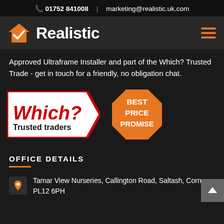01752 841008  |  marketing@realistic.uk.com
[Figure (logo): Realistic logo with orange house checkmark icon and white bold text 'Realistic', with orange hamburger menu icon on the right]
Approved Ultraframe Installer and part of the Which? Trusted Trade - get in touch for a friendly, no obligation chat.
[Figure (logo): Which? Trusted traders badge (arrow shape, red and white) and Best Price Promise orange octagon badge]
OFFICE DETAILS
Tamar View Nurseries, Callington Road, Saltash, Cornwall, PL12 6PH